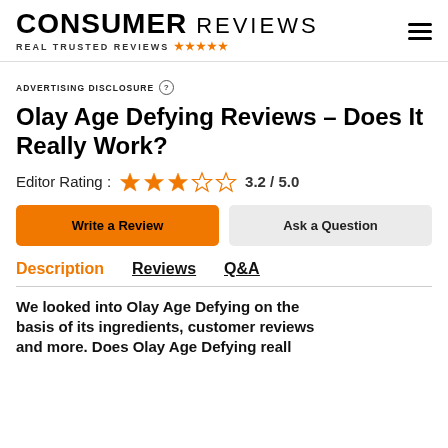CONSUMER REVIEWS — REAL TRUSTED REVIEWS
ADVERTISING DISCLOSURE
Olay Age Defying Reviews – Does It Really Work?
Editor Rating : 3.2 / 5.0
Write a Review
Ask a Question
Description | Reviews | Q&A
We looked into Olay Age Defying on the basis of its ingredients, customer reviews and more. Does Olay Age Defying really...